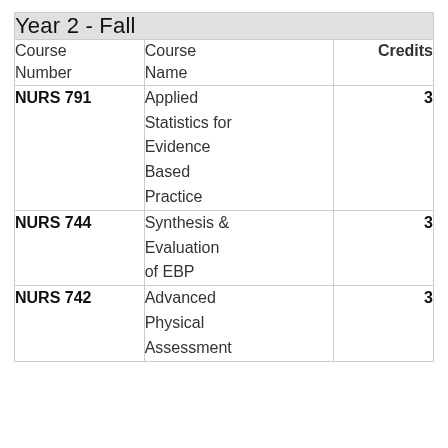| Course Number | Course Name | Credits |
| --- | --- | --- |
| NURS 791 | Applied Statistics for Evidence Based Practice | 3 |
| NURS 744 | Synthesis & Evaluation of EBP | 3 |
| NURS 742 | Advanced Physical Assessment | 3 |